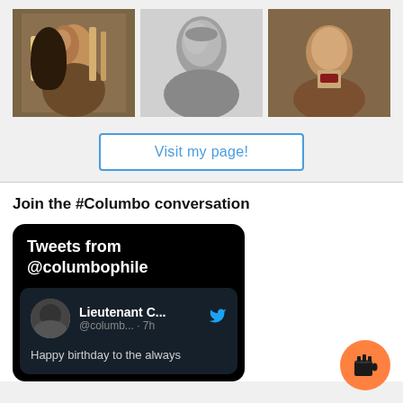[Figure (photo): Three photos of actor Peter Falk as Columbo]
Visit my page!
Join the #Columbo conversation
[Figure (screenshot): Twitter widget showing tweets from @columbophile with a tweet card from Lieutenant C... @columb... 7h reading 'Happy birthday to the always']
[Figure (illustration): Orange coffee cup button (Buy Me a Coffee widget)]